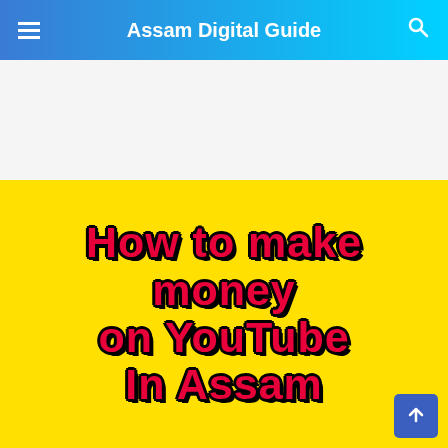Assam Digital Guide
[Figure (illustration): Yellow background thumbnail image with bold red text outlined in black reading 'How to make money on YouTube In Assam']